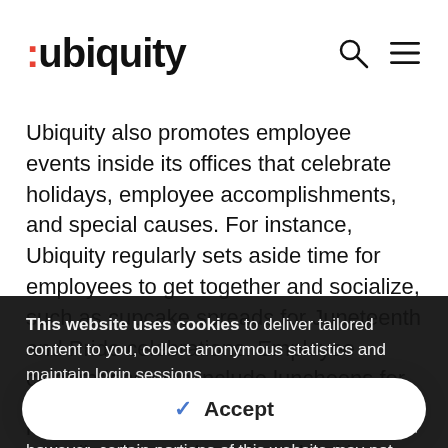:ubiquity
Ubiquity also promotes employee events inside its offices that celebrate holidays, employee accomplishments, and special causes. For instance, Ubiquity regularly sets aside time for employees to get together and socialize, such as cupcake spreads for Juneteenth and Pride celebrations. Employee celebrations also include luncheons for holidays, with the biggest events
This website uses cookies to deliver tailored content to you, collect anonymous statistics and maintain login sessions.

You may decline our use of cookies in your browser; however, certain portions of this website may not function properly. Click here for our privacy policy and information.
Accept
provider for highly complex industries, including financial services, healthcare, and e-commerce.